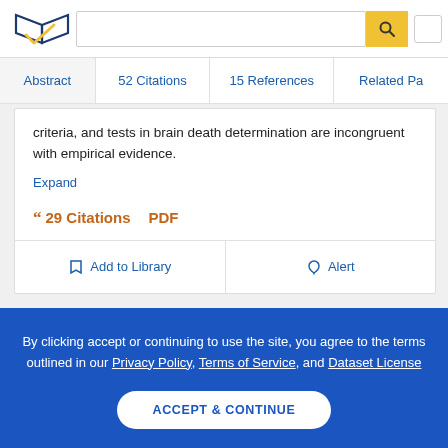[Figure (logo): Semantic Scholar logo - stylized book with blue and gold checkmark]
Abstract | 52 Citations | 15 References | Related Pa...
criteria, and tests in brain death determination are incongruent with empirical evidence.
Expand
29 Citations   PDF
Add to Library   Alert
By clicking accept or continuing to use the site, you agree to the terms outlined in our Privacy Policy, Terms of Service, and Dataset License
ACCEPT & CONTINUE